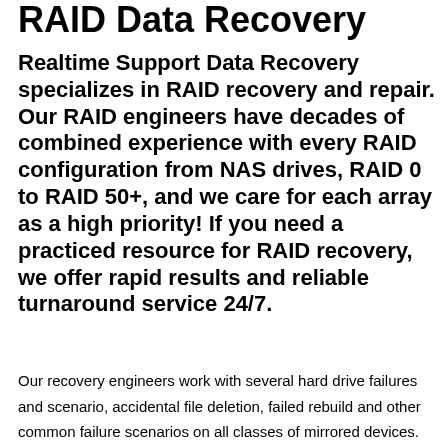RAID Data Recovery
Realtime Support Data Recovery specializes in RAID recovery and repair. Our RAID engineers have decades of combined experience with every RAID configuration from NAS drives, RAID 0 to RAID 50+, and we care for each array as a high priority! If you need a practiced resource for RAID recovery, we offer rapid results and reliable turnaround service 24/7.
Our recovery engineers work with several hard drive failures and scenario, accidental file deletion, failed rebuild and other common failure scenarios on all classes of mirrored devices.